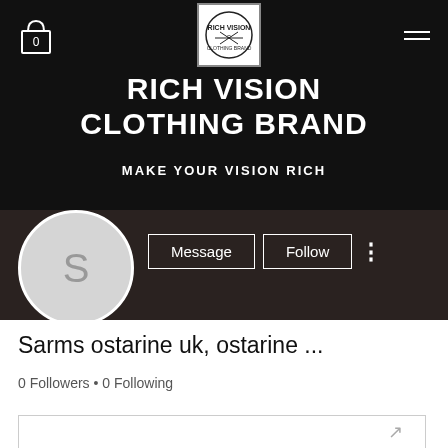[Figure (screenshot): Screenshot of Rich Vision Clothing Brand website header with logo, cart icon (0), and hamburger menu on black background]
RICH VISION CLOTHING BRAND
MAKE YOUR VISION RICH
[Figure (screenshot): User profile section with avatar circle showing 'S', Message and Follow buttons on dark background]
Sarms ostarine uk, ostarine ...
0 Followers • 0 Following